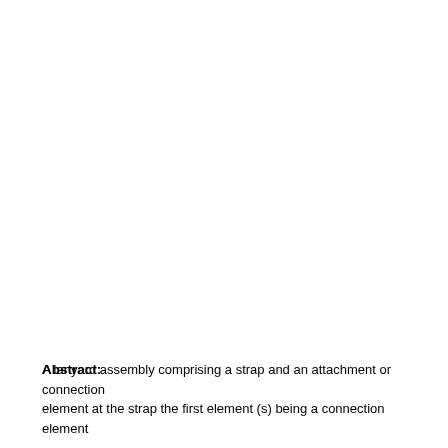Abstract:
A lanyard assembly comprising a strap and an attachment or connection element at the strap, the first element (s) being a connection element